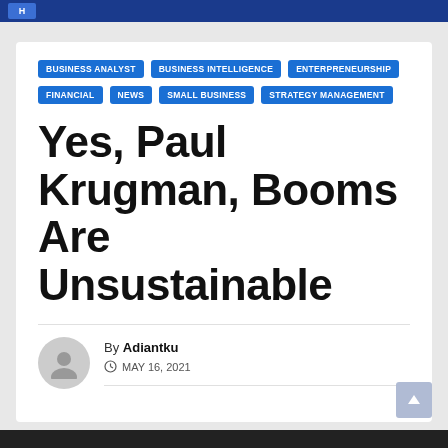Navigation bar
BUSINESS ANALYST
BUSINESS INTELLIGENCE
ENTERPRENEURSHIP
FINANCIAL
NEWS
SMALL BUSINESS
STRATEGY MANAGEMENT
Yes, Paul Krugman, Booms Are Unsustainable
By Adiantku
MAY 16, 2021